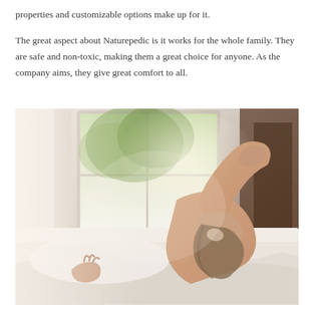properties and customizable options make up for it.
The great aspect about Naturepedic is it works for the whole family. They are safe and non-toxic, making them a great choice for anyone. As the company aims, they give great comfort to all.
[Figure (photo): A woman lying on a white bed with white bedding, arm raised above her head, photographed from the side in warm natural light coming from a window in the background.]